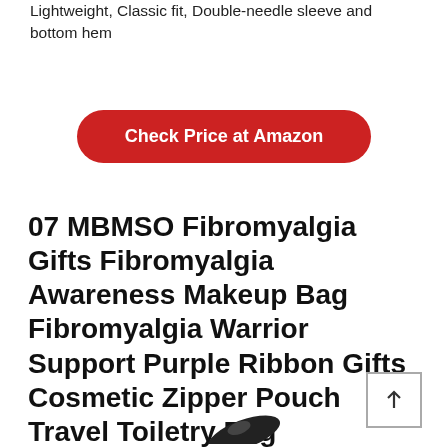Lightweight, Classic fit, Double-needle sleeve and bottom hem
[Figure (other): Red rounded rectangle button with white bold text reading 'Check Price at Amazon']
07 MBMSO Fibromyalgia Gifts Fibromyalgia Awareness Makeup Bag Fibromyalgia Warrior Support Purple Ribbon Gifts Cosmetic Zipper Pouch Travel Toiletry Bag (Fibromyalgia bag)
[Figure (other): Partial image of a product (cosmetic bag or clasp) visible at the bottom of the page]